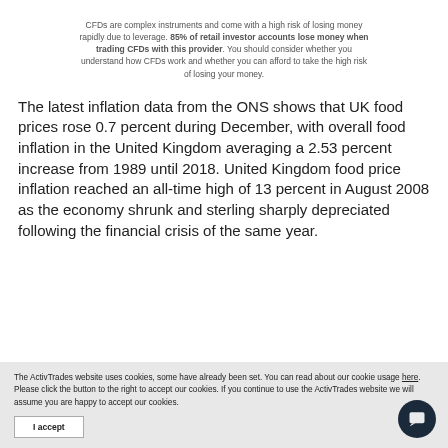CFDs are complex instruments and come with a high risk of losing money rapidly due to leverage. 85% of retail investor accounts lose money when trading CFDs with this provider. You should consider whether you understand how CFDs work and whether you can afford to take the high risk of losing your money.
The latest inflation data from the ONS shows that UK food prices rose 0.7 percent during December, with overall food inflation in the United Kingdom averaging a 2.53 percent increase from 1989 until 2018. United Kingdom food price inflation reached an all-time high of 13 percent in August 2008 as the economy shrunk and sterling sharply depreciated following the financial crisis of the same year.
The ActivTrades website uses cookies, some have already been set. You can read about our cookie usage here. Please click the button to the right to accept our cookies. If you continue to use the ActivTrades website we will assume you are happy to accept our cookies.